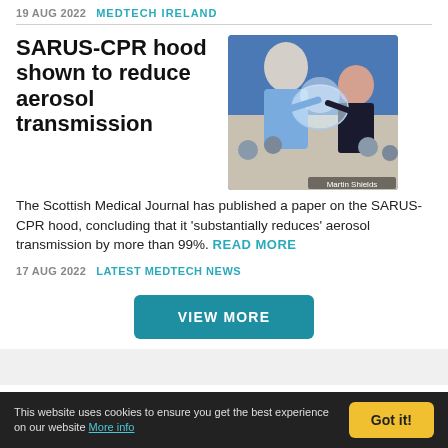19 AUG 2022  MEDTECH IRELAND
SARUS-CPR hood shown to reduce aerosol transmission
[Figure (photo): Two people demonstrating a transparent plastic hood being placed over a person's head, with a crowd in the background. Photo credit: Martin Shields.]
The Scottish Medical Journal has published a paper on the SARUS-CPR hood, concluding that it 'substantially reduces' aerosol transmission by more than 99%.
READ MORE
17 AUG 2022  LATEST MEDTECH NEWS
VIEW MORE
This website uses cookies to ensure you get the best experience on our website More info   Got it!